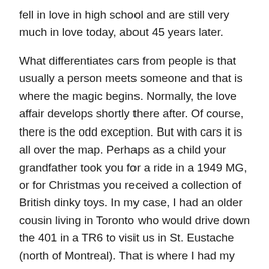fell in love in high school and are still very much in love today, about 45 years later.
What differentiates cars from people is that usually a person meets someone and that is where the magic begins. Normally, the love affair develops shortly there after. Of course, there is the odd exception. But with cars it is all over the map. Perhaps as a child your grandfather took you for a ride in a 1949 MG, or for Christmas you received a collection of British dinky toys. In my case, I had an older cousin living in Toronto who would drive down the 401 in a TR6 to visit us in St. Eustache (north of Montreal). That is where I had my first ride in a British sports car. The exhaust, the engine, wooden dash, gages, toggle switches, and no roof. The look and the style won me over. That is where my love affair began. It is different